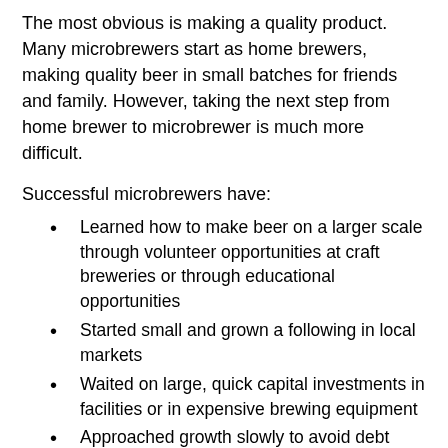The most obvious is making a quality product. Many microbrewers start as home brewers, making quality beer in small batches for friends and family. However, taking the next step from home brewer to microbrewer is much more difficult.
Successful microbrewers have:
Learned how to make beer on a larger scale through volunteer opportunities at craft breweries or through educational opportunities
Started small and grown a following in local markets
Waited on large, quick capital investments in facilities or in expensive brewing equipment
Approached growth slowly to avoid debt
Purchased equipment through cash—often the best chance for small business success
Contracted with third-party breweries to grow